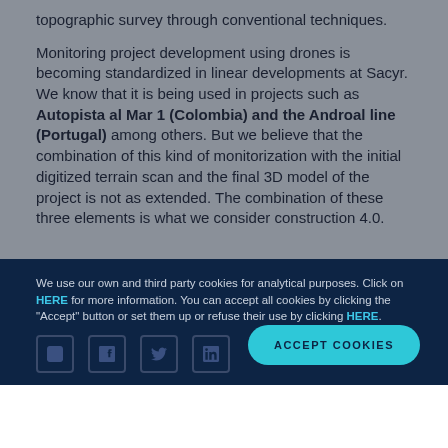topographic survey through conventional techniques.
Monitoring project development using drones is becoming standardized in linear developments at Sacyr. We know that it is being used in projects such as Autopista al Mar 1 (Colombia) and the Androal line (Portugal) among others. But we believe that the combination of this kind of monitorization with the initial digitized terrain scan and the final 3D model of the project is not as extended. The combination of these three elements is what we consider construction 4.0.
We use our own and third party cookies for analytical purposes. Click on HERE for more information. You can accept all cookies by clicking the "Accept" button or set them up or refuse their use by clicking HERE.